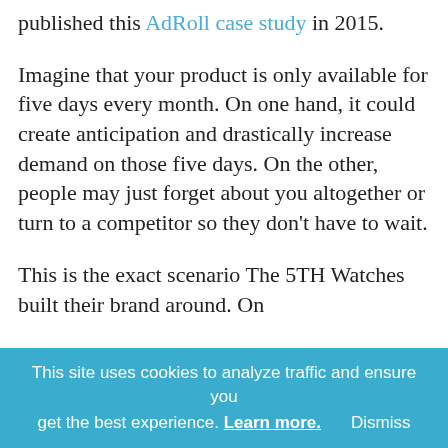Where the study came from: AdNews published this AdRoll case study in 2015.
Imagine that your product is only available for five days every month. On one hand, it could create anticipation and drastically increase demand on those five days. On the other, people may just forget about you altogether or turn to a competitor so they don't have to wait.
This is the exact scenario The 5TH Watches built their brand around. On the 5th of every month, the new f...
This site uses cookies to analyze traffic and ensure you get the best experience. Learn more. Dismiss